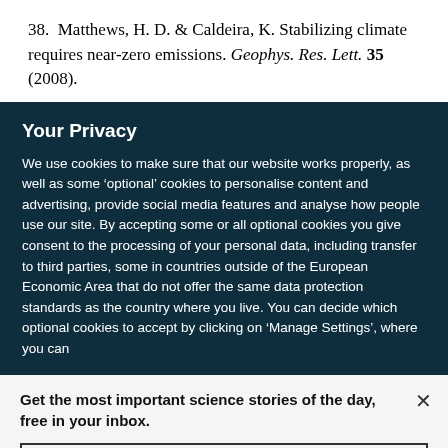38. Matthews, H. D. & Caldeira, K. Stabilizing climate requires near-zero emissions. Geophys. Res. Lett. 35 (2008).
Your Privacy
We use cookies to make sure that our website works properly, as well as some ‘optional’ cookies to personalise content and advertising, provide social media features and analyse how people use our site. By accepting some or all optional cookies you give consent to the processing of your personal data, including transfer to third parties, some in countries outside of the European Economic Area that do not offer the same data protection standards as the country where you live. You can decide which optional cookies to accept by clicking on ‘Manage Settings’, where you can
Get the most important science stories of the day, free in your inbox.
Sign up for Nature Briefing